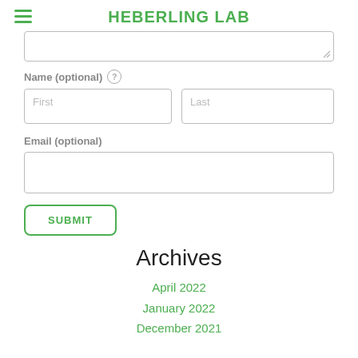HEBERLING LAB
Name (optional)
First
Last
Email (optional)
SUBMIT
Archives
April 2022
January 2022
December 2021